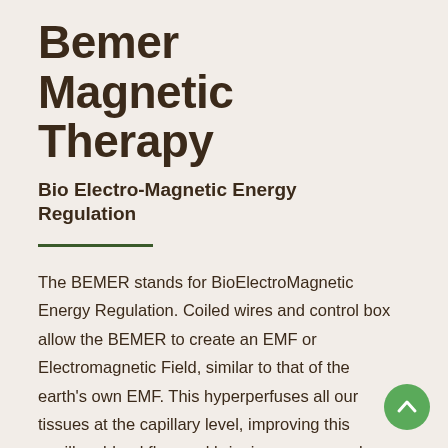Bemer Magnetic Therapy
Bio Electro-Magnetic Energy Regulation
The BEMER stands for BioElectroMagnetic Energy Regulation. Coiled wires and control box allow the BEMER to create an EMF or Electromagnetic Field, similar to that of the earth's own EMF. This hyperperfuses all our tissues at the capillary level, improving this capillary blood flow and bringing oxygen and nutrition more readily and easily to the tissues and getting the waste out more efficiently.